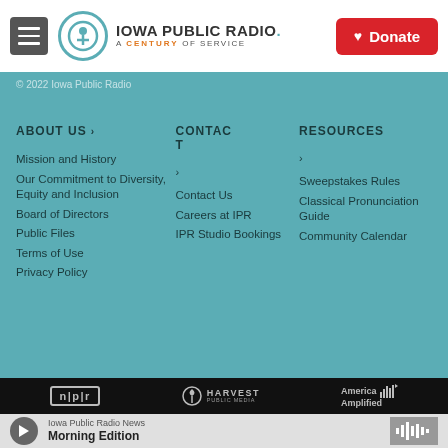Iowa Public Radio. A Century of Service. Donate
© 2022 Iowa Public Radio
ABOUT US
Mission and History
Our Commitment to Diversity, Equity and Inclusion
Board of Directors
Public Files
Terms of Use
Privacy Policy
CONTACT
Contact Us
Careers at IPR
IPR Studio Bookings
RESOURCES
Sweepstakes Rules
Classical Pronunciation Guide
Community Calendar
npr | Harvest Public Media | America Amplified
Iowa Public Radio News Morning Edition